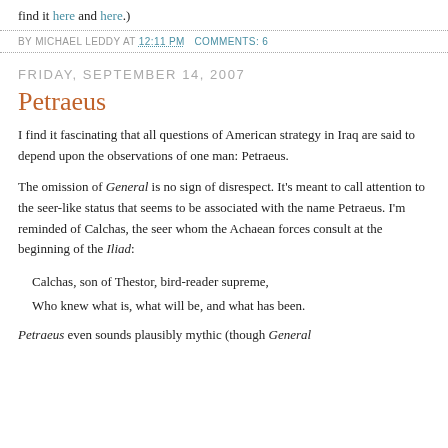find it here and here.)
BY MICHAEL LEDDY AT 12:11 PM   COMMENTS: 6
FRIDAY, SEPTEMBER 14, 2007
Petraeus
I find it fascinating that all questions of American strategy in Iraq are said to depend upon the observations of one man: Petraeus.
The omission of General is no sign of disrespect. It's meant to call attention to the seer-like status that seems to be associated with the name Petraeus. I'm reminded of Calchas, the seer whom the Achaean forces consult at the beginning of the Iliad:
Calchas, son of Thestor, bird-reader supreme,
Who knew what is, what will be, and what has been.
Petraeus even sounds plausibly mythic (though General